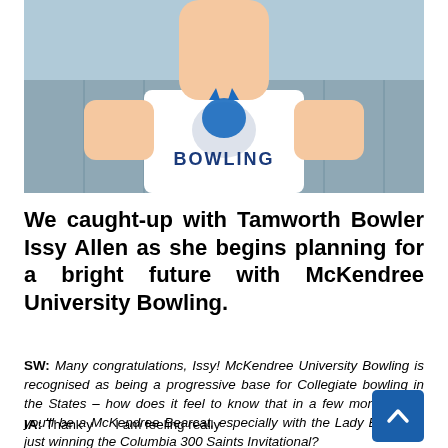[Figure (photo): Photo of Issy Allen wearing a white McKendree University Bowling jersey, standing in a bowling alley.]
We caught-up with Tamworth Bowler Issy Allen as she begins planning for a bright future with McKendree University Bowling.
SW: Many congratulations, Issy! McKendree University Bowling is recognised as being a progressive base for Collegiate bowling in the States – how does it feel to know that in a few months time you'll be a McKendree Bearcat, especially with the Lady Bearcat's just winning the Columbia 300 Saints Invitational?
IA: Thank you! I am feeling really